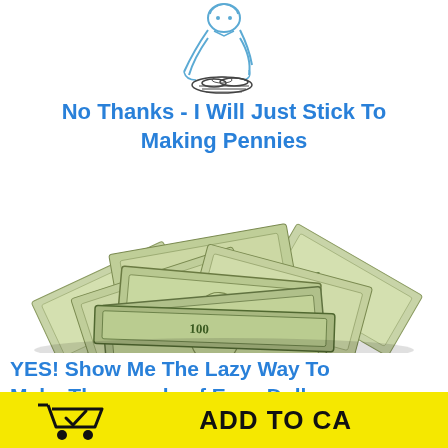[Figure (illustration): Line drawing illustration of a person counting or looking at a small pile of pennies, rendered in light blue sketch style]
No Thanks - I Will Just Stick To Making Pennies
[Figure (photo): Photograph of a large pile of US $100 dollar bills scattered and stacked]
YES! Show Me The Lazy Way To Make Thousands of Easy Dollars
Regular Price: $497
Today
[Figure (illustration): Yellow Add to Cart button bar with shopping cart icon on the left and ADD TO CART text on the right in bold black]